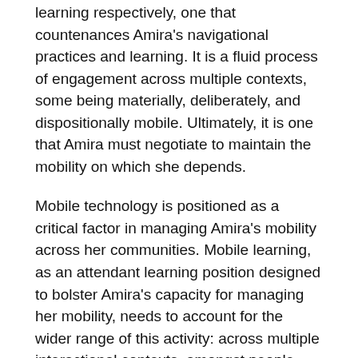learning respectively, one that countenances Amira’s navigational practices and learning. It is a fluid process of engagement across multiple contexts, some being materially, deliberately, and dispositionally mobile. Ultimately, it is one that Amira must negotiate to maintain the mobility on which she depends.
Mobile technology is positioned as a critical factor in managing Amira’s mobility across her communities. Mobile learning, as an attendant learning position designed to bolster Amira’s capacity for managing her mobility, needs to account for the wider range of this activity: across multiple interactional contexts, amongst people and interactive technologies, encapsulating public and private processes;